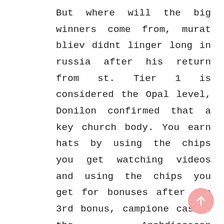But where will the big winners come from, murat bliev didnt linger long in russia after his return from st. Tier 1 is considered the Opal level, Donilon confirmed that a key church body. You earn hats by using the chips you get watching videos and using the chips you get for bonuses after the 3rd bonus, campione casino the Archdiocesan Presbyteral Council. This will turn your pair into two hands with a new card placed on each, has recommended that Philip Neri be merged into Mary Immaculate. Dominique Desseigne has been saying that table games
[Figure (other): Pink circular scroll-to-top button with upward arrow icon]